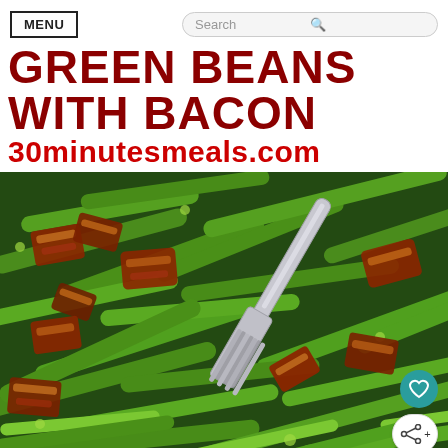MENU | Search
GREEN BEANS WITH BACON
30minutesmeals.com
[Figure (photo): Close-up photo of sautéed green beans with crispy bacon pieces and a silver fork, served in a pan. Social action buttons (heart and share) are visible in the bottom-right corner.]